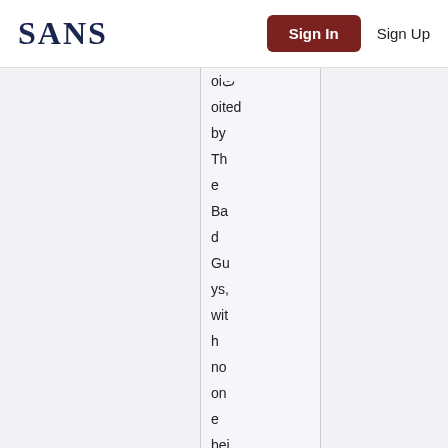SANS | Sign In | Sign Up
oited by The Bad Guys, with no one bei